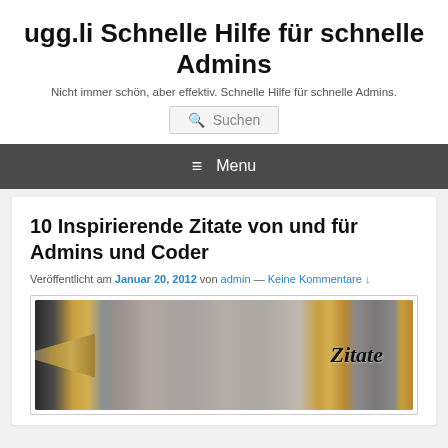ugg.li Schnelle Hilfe für schnelle Admins
Nicht immer schön, aber effektiv. Schnelle Hilfe für schnelle Admins.
≡  Menu
10 Inspirierende Zitate von und für Admins und Coder
Veröffentlicht am Januar 20, 2012 von admin — Keine Kommentare ↓
[Figure (photo): A fountain pen with gold accents lying on a surface, with the word 'Zitate' written in italic script on the barrel.]